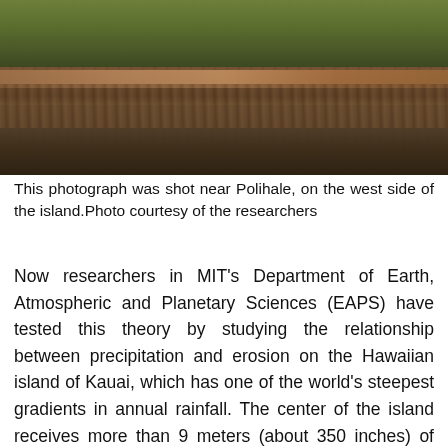[Figure (photo): Aerial or landscape photograph taken near Polihale on the west side of Kauai island, showing dry shrubland vegetation, a dirt road, and sparse low-lying plants in muted brown, green, and orange tones.]
This photograph was shot near Polihale, on the west side of the island.Photo courtesy of the researchers
Now researchers in MIT's Department of Earth, Atmospheric and Planetary Sciences (EAPS) have tested this theory by studying the relationship between precipitation and erosion on the Hawaiian island of Kauai, which has one of the world's steepest gradients in annual rainfall. The center of the island receives more than 9 meters (about 350 inches) of rain per year, while its shores remain relatively dry, with as little as half a meter (about 20